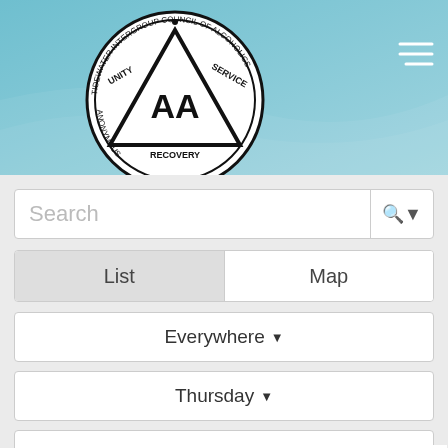[Figure (logo): Tidewater Intergroup Council of Alcoholics Anonymous circular seal logo with AA triangle symbol, Unity, Service, Recovery text]
Search
List
Map
Everywhere ▾
Thursday ▾
Any Time ▾
Living Sober ▾